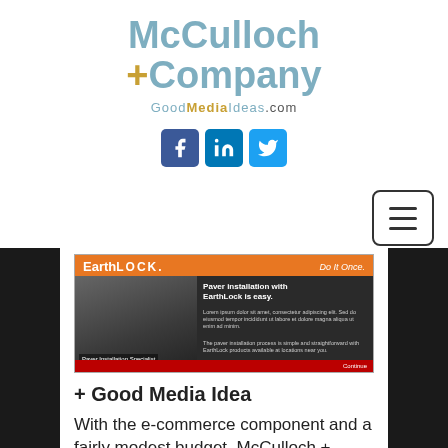[Figure (logo): McCulloch + Company logo with GoodMediaIdeas.com tagline]
[Figure (logo): Social media icons: Facebook, LinkedIn, Twitter]
[Figure (screenshot): EarthLock website screenshot showing paver installation content]
+ Good Media Idea
With the e-commerce component and a fairly modest budget, McCulloch + Company